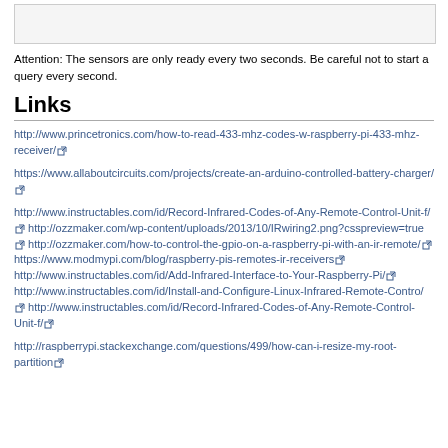[Figure (other): Image placeholder box at top of page]
Attention: The sensors are only ready every two seconds. Be careful not to start a query every second.
Links
http://www.princetronics.com/how-to-read-433-mhz-codes-w-raspberry-pi-433-mhz-receiver/
https://www.allaboutcircuits.com/projects/create-an-arduino-controlled-battery-charger/
http://www.instructables.com/id/Record-Infrared-Codes-of-Any-Remote-Control-Unit-f/ http://ozzmaker.com/wp-content/uploads/2013/10/IRwiring2.png?csspreview=true http://ozzmaker.com/how-to-control-the-gpio-on-a-raspberry-pi-with-an-ir-remote/ https://www.modmypi.com/blog/raspberry-pis-remotes-ir-receivers http://www.instructables.com/id/Add-Infrared-Interface-to-Your-Raspberry-Pi/ http://www.instructables.com/id/Install-and-Configure-Linux-Infrared-Remote-Contro/ http://www.instructables.com/id/Record-Infrared-Codes-of-Any-Remote-Control-Unit-f/
http://raspberrypi.stackexchange.com/questions/499/how-can-i-resize-my-root-partition